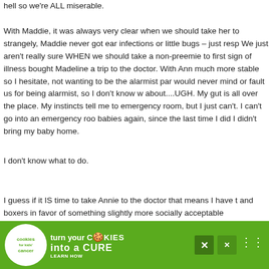hell so we're ALL miserable. With Maddie, it was always very clear when we should take her to strangely, Maddie never got ear infections or little bugs – just resp We just aren't really sure WHEN we should take a non-preemie to first sign of illness bought Madeline a trip to the doctor. With Ann much more stable so I hesitate, not wanting to be the alarmist par would never mind or fault us for being alarmist, so I don't know w about....UGH. My gut is all over the place. My instincts tell me to emergency room, but I just can't. I can't go into an emergency roo babies again, since the last time I did I didn't bring my baby home.
I don't know what to do.
I guess if it IS time to take Annie to the doctor that means I have t and boxers in favor of something slightly more socially acceptable
[Figure (infographic): Advertisement banner: green background with cookies for kids' cancer logo (white circle with cookie icon), text 'turn your COOKIES into a CURE LEARN HOW' with close button X]